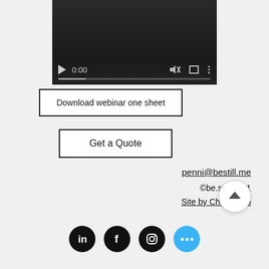[Figure (screenshot): Video player with dark background showing controls: play button, time 0:00, mute icon, fullscreen icon, more options icon, and a progress bar]
Download webinar one sheet
Get a Quote
penni@bestill.me
©be.still 2021
Site by Chez No...io
[Figure (screenshot): Back to top button (chevron up icon in white circle)]
[Figure (infographic): Social media icons: LinkedIn, Facebook, Instagram (black circles), and a blue more options button with three dots]